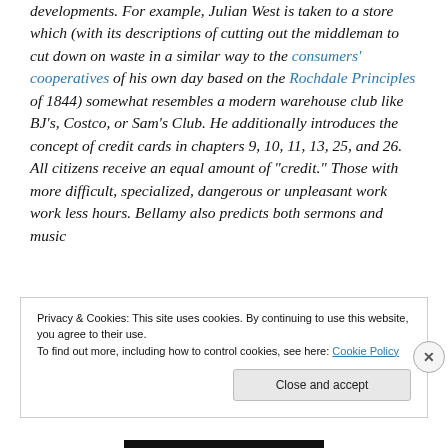developments. For example, Julian West is taken to a store which (with its descriptions of cutting out the middleman to cut down on waste in a similar way to the consumers' cooperatives of his own day based on the Rochdale Principles of 1844) somewhat resembles a modern warehouse club like BJ's, Costco, or Sam's Club. He additionally introduces the concept of credit cards in chapters 9, 10, 11, 13, 25, and 26. All citizens receive an equal amount of "credit." Those with more difficult, specialized, dangerous or unpleasant work work less hours. Bellamy also predicts both sermons and music
Privacy & Cookies: This site uses cookies. By continuing to use this website, you agree to their use. To find out more, including how to control cookies, see here: Cookie Policy